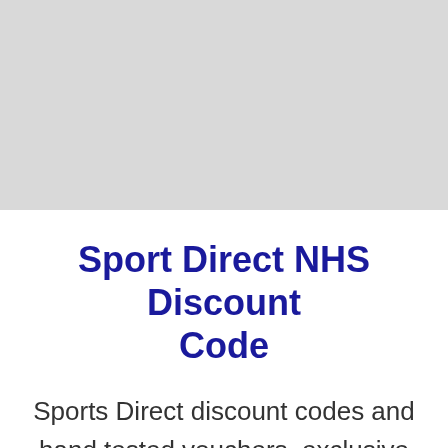[Figure (photo): Light gray rectangular placeholder image occupying the top portion of the page]
Sport Direct NHS Discount Code
Sports Direct discount codes and hand tested vouchers, exclusive